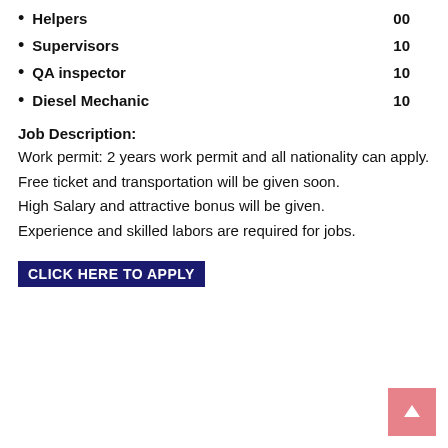Helpers  00
Supervisors  10
QA inspector  10
Diesel Mechanic  10
Job Description:
Work permit: 2 years work permit and all nationality can apply.
Free ticket and transportation will be given soon.
High Salary and attractive bonus will be given.
Experience and skilled labors are required for jobs.
CLICK HERE TO APPLY